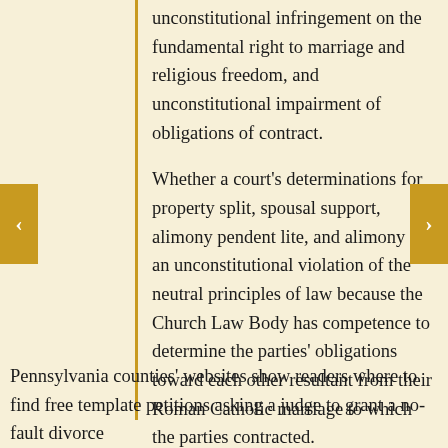unconstitutional infringement on the fundamental right to marriage and religious freedom, and unconstitutional impairment of obligations of contract.
Whether a court's determinations for property split, spousal support, alimony pendent lite, and alimony are an unconstitutional violation of the neutral principles of law because the Church Law Body has competence to determine the parties' obligations toward each other resultant from their Roman Catholic marriage to which the parties contracted.
Pennsylvania counties' websites show readers where to find free template petitions asking a judge to grant a no-fault divorce